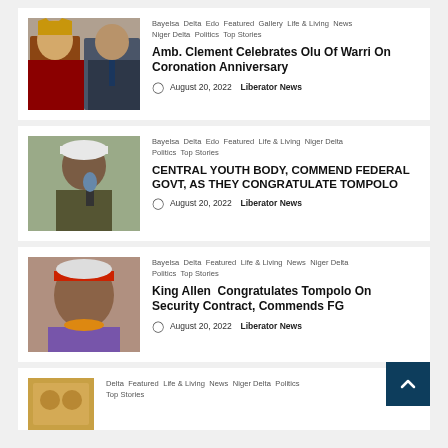Tags: Bayelsa Delta Edo Featured Gallery Life & Living News Niger Delta Politics Top Stories | Amb. Clement Celebrates Olu Of Warri On Coronation Anniversary | August 20, 2022  Liberator News
Tags: Bayelsa Delta Edo Featured Life & Living Niger Delta Politics Top Stories | CENTRAL YOUTH BODY, COMMEND FEDERAL GOVT, AS THEY CONGRATULATE TOMPOLO | August 20, 2022  Liberator News
Tags: Bayelsa Delta Featured Life & Living News Niger Delta Politics Top Stories | King Allen  Congratulates Tompolo On Security Contract, Commends FG | August 20, 2022  Liberator News
Tags: Delta Featured Life & Living News Niger Delta Politics Top Stories